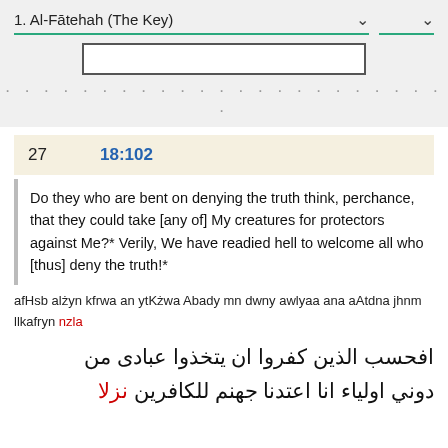1. Al-Fātehah (The Key)
27   18:102
Do they who are bent on denying the truth think, perchance, that they could take [any of] My creatures for protectors against Me?* Verily, We have readied hell to welcome all who [thus] deny the truth!*
afHsb alżyn kfrwa an ytKżwa Abady mn dwny awlyaa ana aAtdna jhnm llkafryn nzla
افحسب الذين كفروا ان يتخذوا عبادى من دوني اولياء انا اعتدنا جهنم للكافرين نزلا